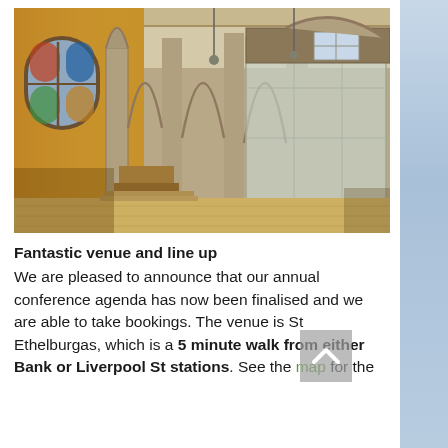[Figure (photo): Interior of St Ethelburgas church venue showing gothic stone arches, stained glass window on the left, wooden floor, and modern glass partitions on the right side.]
Fantastic venue and line up
We are pleased to announce that our annual conference agenda has now been finalised and we are able to take bookings. The venue is St Ethelburgas, which is a 5 minute walk from either Bank or Liverpool St stations. See the map for the